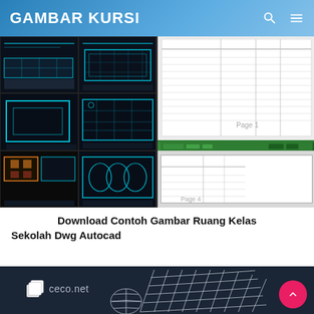GAMBAR KURSI
[Figure (screenshot): Composite screenshot showing AutoCAD DWG drawings of a school classroom on the left (dark background with cyan/blue technical floor plans in a 2x3 grid) and document/spreadsheet pages on the right showing construction tables with a green toolbar divider.]
Download Contoh Gambar Ruang Kelas Sekolah Dwg Autocad
[Figure (screenshot): Dark navy blue background with white wireframe 3D structural model (curved/cylindrical shapes), ceco.net logo with white cube icon on the left, and a pink circular back-to-top button on the right.]